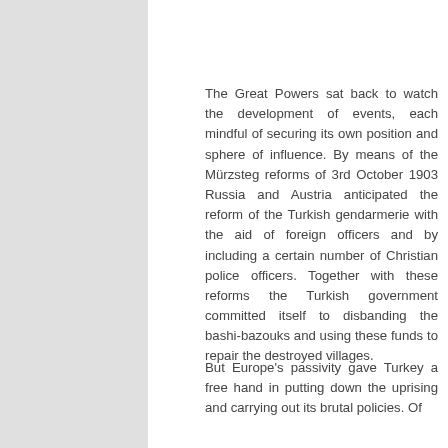The Great Powers sat back to watch the development of events, each mindful of securing its own position and sphere of influence. By means of the Mürzsteg reforms of 3rd October 1903 Russia and Austria anticipated the reform of the Turkish gendarmerie with the aid of foreign officers and by including a certain number of Christian police officers. Together with these reforms the Turkish government committed itself to disbanding the bashi-bazouks and using these funds to repair the destroyed villages.
But Europe's passivity gave Turkey a free hand in putting down the uprising and carrying out its brutal policies. Of